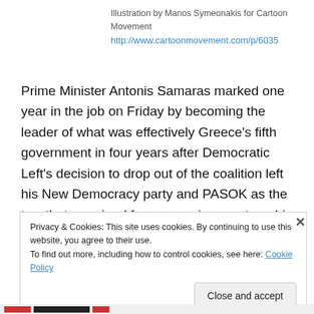Illustration by Manos Symeonakis for Cartoon Movement
http://www.cartoonmovement.com/p/6035
Prime Minister Antonis Samaras marked one year in the job on Friday by becoming the leader of what was effectively Greece’s fifth government in four years after Democratic Left’s decision to drop out of the coalition left his New Democracy party and PASOK as the two that remained from a previous partnership of three. The dire economic situation, the pressure of its lenders and the
Privacy & Cookies: This site uses cookies. By continuing to use this website, you agree to their use.
To find out more, including how to control cookies, see here: Cookie Policy
Close and accept